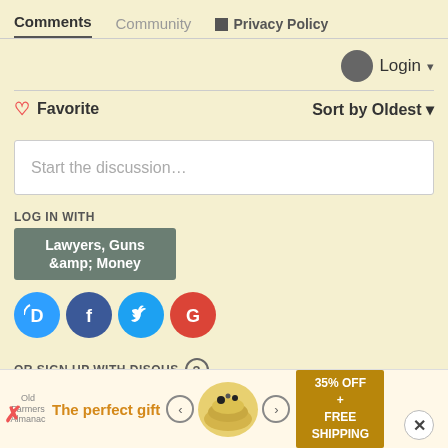Comments  Community  Privacy Policy
Login
♡ Favorite    Sort by Oldest
Start the discussion...
LOG IN WITH
Lawyers, Guns &amp; Money
[Figure (logo): Social login icons: Disqus (D), Facebook (F), Twitter bird, Google (G)]
OR SIGN UP WITH DISQUS ?
Name
Email
[Figure (infographic): Advertisement banner: The perfect gift, 35% OFF + FREE SHIPPING, bowl of food product shown]